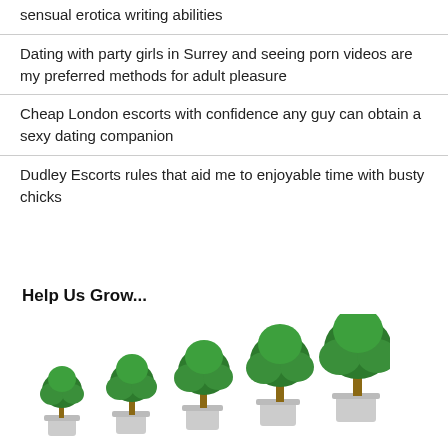sensual erotica writing abilities
Dating with party girls in Surrey and seeing porn videos are my preferred methods for adult pleasure
Cheap London escorts with confidence any guy can obtain a sexy dating companion
Dudley Escorts rules that aid me to enjoyable time with busty chicks
[Figure (illustration): Five potted trees growing progressively larger from left to right, illustrating growth, with bold text 'Help Us Grow...' above them]